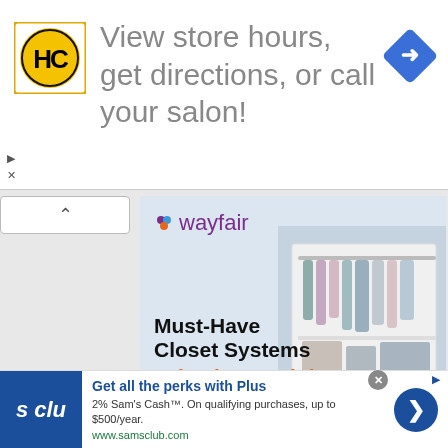[Figure (screenshot): Top advertisement banner for Hair Club (HC) showing logo, text 'View store hours, get directions, or call your salon!' and navigation icon]
[Figure (screenshot): Wayfair advertisement showing 'Must-Have Closet Systems Priced Just Right' with closet image and purple 'Shop now' button]
[Figure (logo): Infolinks logo bar in blue]
[Figure (screenshot): Sam's Club advertisement: 'Get all the perks with Plus' - 2% Sam's Cash. On qualifying purchases, up to $500/year. www.samsclub.com]